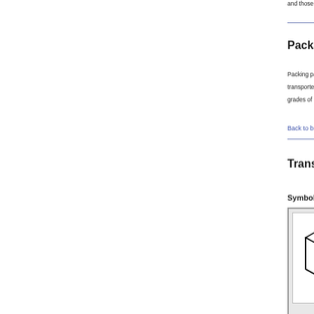and those with sensitive surfaces.
Packaging
Packing paper is wound ultratightly under pres- transported/shipped unpackaged and merely s grades of paper of 110 – 150 g/m² are someti
Back to beginning
Transport
Symbols
[Figure (illustration): A line drawing of a box/cube shown in isometric perspective, enclosed in a grey-bordered square frame.]